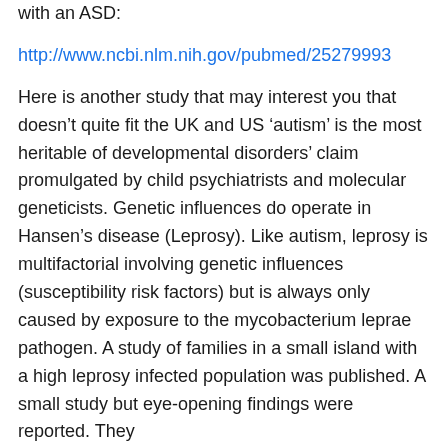with an ASD:
http://www.ncbi.nlm.nih.gov/pubmed/25279993
Here is another study that may interest you that doesn’t quite fit the UK and US ‘autism’ is the most heritable of developmental disorders’ claim promulgated by child psychiatrists and molecular geneticists. Genetic influences do operate in Hansen’s disease (Leprosy). Like autism, leprosy is multifactorial involving genetic influences (susceptibility risk factors) but is always only caused by exposure to the mycobacterium leprae pathogen. A study of families in a small island with a high leprosy infected population was published. A small study but eye-opening findings were reported. They